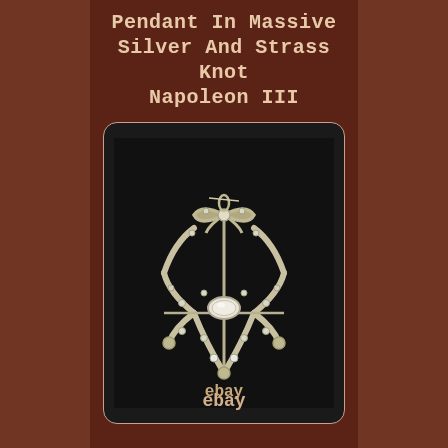Pendant In Massive Silver And Strass Knot Napoleon III
[Figure (photo): A silver and strass (rhinestone) pendant in the Napoleon III style, featuring a bow knot at the top with a central oval crystal stone, surrounded by decorative leaf-shaped elements set with small round strass stones. The pendant is photographed against a dark black fabric background.]
ebay